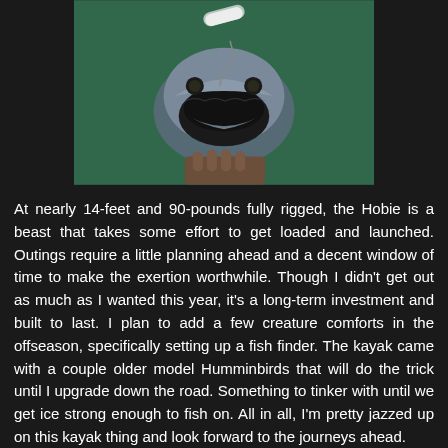[Figure (photo): Close-up photo of a fish (appears to be a bass) with mouth open and a fishing lure/bait visible, held up against a green background near water.]
At nearly 14-feet and 90-pounds fully rigged, the Hobie is a beast that takes some effort to get loaded and launched. Outings require a little planning ahead and a decent window of time to make the exertion worthwhile. Though I didn't get out as much as I wanted this year, it's a long-term investment and built to last. I plan to add a few creature comforts in the offseason, specifically setting up a fish finder. The kayak came with a couple older model Humminbirds that will do the trick until I upgrade down the road. Something to tinker with until we get ice strong enough to fish on. All in all, I'm pretty jazzed up on this kayak thing and look forward to the journeys ahead.